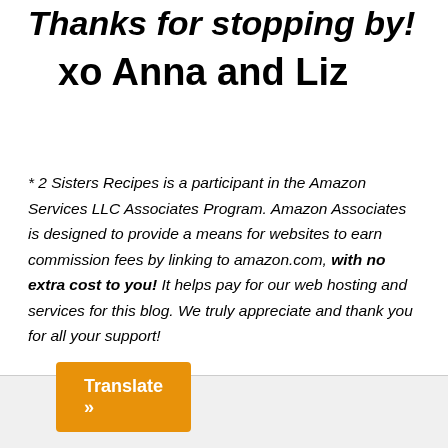Thanks for stopping by!
xo Anna and Liz
* 2 Sisters Recipes is a participant in the Amazon Services LLC Associates Program.  Amazon Associates is designed to provide a means for websites to earn commission fees by linking to amazon.com, with no extra cost to you!  It helps pay for our web hosting and services for this blog.  We truly appreciate and thank you for all your support!
Translate »